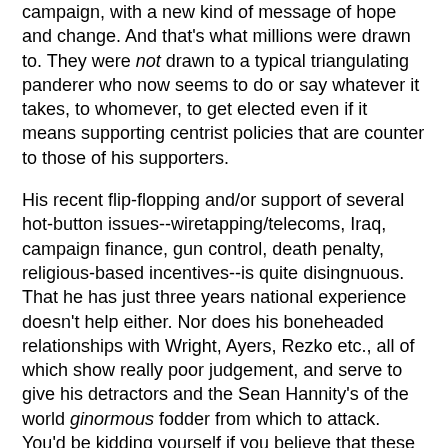campaign, with a new kind of message of hope and change. And that's what millions were drawn to. They were not drawn to a typical triangulating panderer who now seems to do or say whatever it takes, to whomever, to get elected even if it means supporting centrist policies that are counter to those of his supporters.
His recent flip-flopping and/or support of several hot-button issues--wiretapping/telecoms, Iraq, campaign finance, gun control, death penalty, religious-based incentives--is quite disingnuous. That he has just three years national experience doesn't help either. Nor does his boneheaded relationships with Wright, Ayers, Rezko etc., all of which show really poor judgement, and serve to give his detractors and the Sean Hannity's of the world ginormous fodder from which to attack. You'd be kidding yourself if you believe that these missteps have not had a tremendous negative impact on the independents; those still on the fence. Those voters whom he so desperately needs.
I don't quote Hannity often, but I will today: "We just don't know who this guy really is." Correction, we do: he's a really junior Senator, with no major policy accomplishments, who